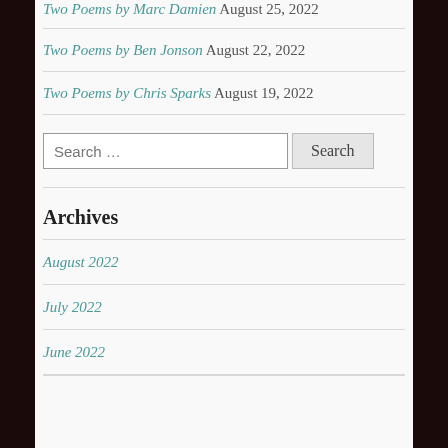Two Poems by Marc Damien August 25, 2022
Two Poems by Ben Jonson August 22, 2022
Two Poems by Chris Sparks August 19, 2022
Search …
Archives
August 2022
July 2022
June 2022